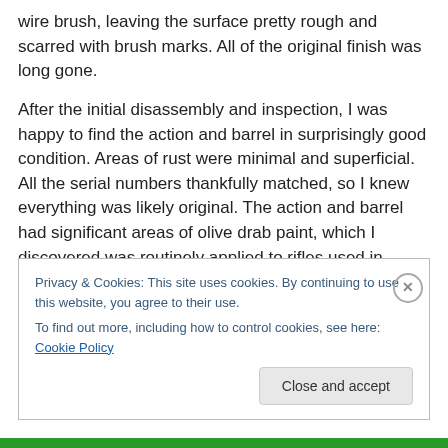wire brush, leaving the surface pretty rough and scarred with brush marks. All of the original finish was long gone.
After the initial disassembly and inspection, I was happy to find the action and barrel in surprisingly good condition. Areas of rust were minimal and superficial. All the serial numbers thankfully matched, so I knew everything was likely original. The action and barrel had significant areas of olive drab paint, which I discovered was routinely applied to rifles used in tropical climates during WWII to help prevent rust. I was careful to leave that intact.
Privacy & Cookies: This site uses cookies. By continuing to use this website, you agree to their use. To find out more, including how to control cookies, see here: Cookie Policy
Close and accept